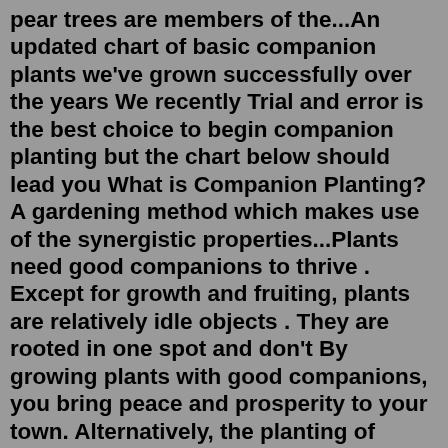pear trees are members of the...An updated chart of basic companion plants we've grown successfully over the years We recently Trial and error is the best choice to begin companion planting but the chart below should lead you What is Companion Planting? A gardening method which makes use of the synergistic properties...Plants need good companions to thrive . Except for growth and fruiting, plants are relatively idle objects . They are rooted in one spot and don't By growing plants with good companions, you bring peace and prosperity to your town. Alternatively, the planting of disruptive plants can quickly bring...Companion planting charts tell you which combinations are supposed to work together And if you're just as fascinated as I am by the wonderful world of predatory insects, I bet you'll enjoy Mary Gardiner's book, "Good Garden Bugs: Everything You Need to Know about Beneficial Predatory Insects."A free companion planting guide to 67 plants, herbs and trees + companion panting charts. Let's look at the basic rules of companion planting.